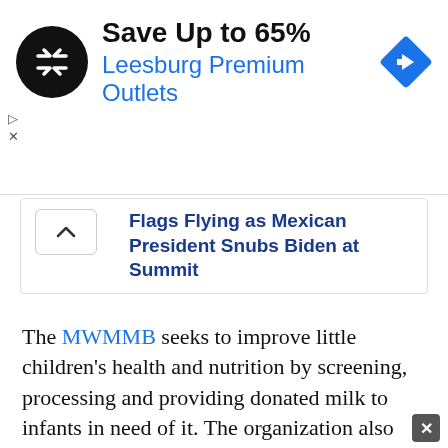[Figure (infographic): Advertisement banner: black circular logo with double arrow icon, text 'Save Up to 65%' in bold black and 'Leesburg Premium Outlets' in blue, with a blue diamond navigation icon on the right.]
Flags Flying as Mexican President Snubs Biden at Summit
The MWMMB seeks to improve little children's health and nutrition by screening, processing and providing donated milk to infants in need of it. The organization also advocates for breastfeeding.
The MWMMB has set up donation sites in Utah and southern Idaho where donors can deliver